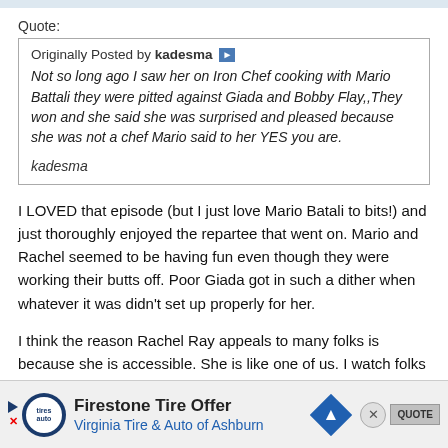Quote:
Originally Posted by kadesma
Not so long ago I saw her on Iron Chef cooking with Mario Battali they were pitted against Giada and Bobby Flay,,They won and she said she was surprised and pleased because she was not a chef Mario said to her YES you are.

kadesma
I LOVED that episode (but I just love Mario Batali to bits!) and just thoroughly enjoyed the repartee that went on. Mario and Rachel seemed to be having fun even though they were working their butts off. Poor Giada got in such a dither when whatever it was didn't set up properly for her.
I think the reason Rachel Ray appeals to many folks is because she is accessible. She is like one of us. I watch folks like Mario Batali in awe because he is so amazing. Rachel Ray though, I could imagine the two of us slamming together a meal for our families and having a few giggles in the kitchen to
[Figure (infographic): Firestone Tire Offer advertisement banner for Virginia Tire & Auto of Ashburn with logo, blue diamond navigation icon, close button, and QUOTE button]